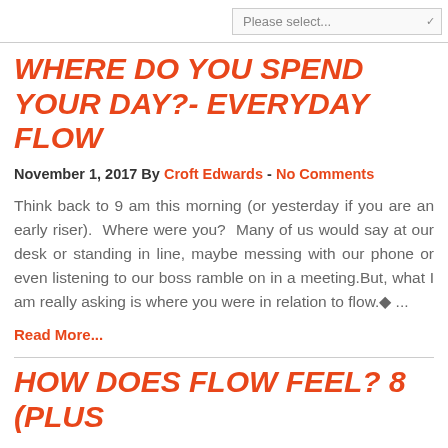Please select...
WHERE DO YOU SPEND YOUR DAY?- EVERYDAY FLOW
November 1, 2017 By Croft Edwards - No Comments
Think back to 9 am this morning (or yesterday if you are an early riser).  Where were you?  Many of us would say at our desk or standing in line, maybe messing with our phone or even listening to our boss ramble on in a meeting.But, what I am really asking is where you were in relation to flow.◆ ...
Read More...
HOW DOES FLOW FEEL? 8 (PLUS